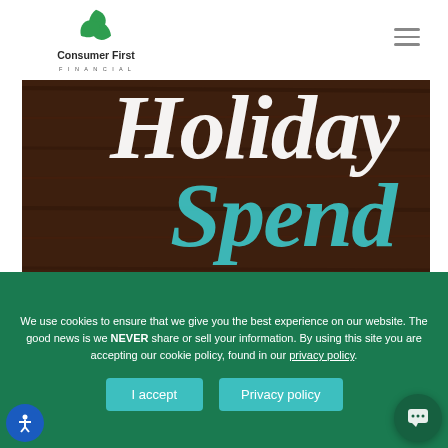[Figure (logo): Consumer First Financial logo — green triple-leaf icon above bold text 'Consumer First' with 'FINANCIAL' in small caps below]
[Figure (photo): Dark wood plank background with white script text 'Holiday' and teal script text 'Spend' overlaid, partially cropped]
We use cookies to ensure that we give you the best experience on our website. The good news is we NEVER share or sell your information. By using this site you are accepting our cookie policy, found in our privacy policy.
I accept
Privacy policy